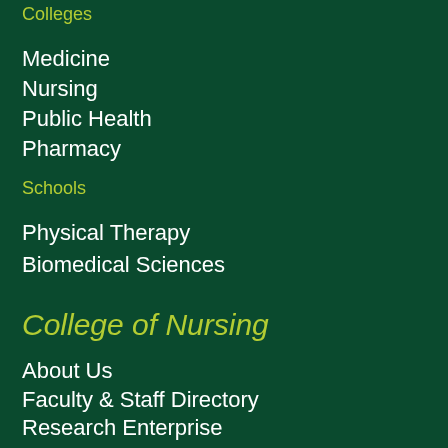Colleges
Medicine
Nursing
Public Health
Pharmacy
Schools
Physical Therapy
Biomedical Sciences
College of Nursing
About Us
Faculty & Staff Directory
Research Enterprise
Alumni/Giving
Faculty & Staff Resources
Educational Design and Technology (EDT)